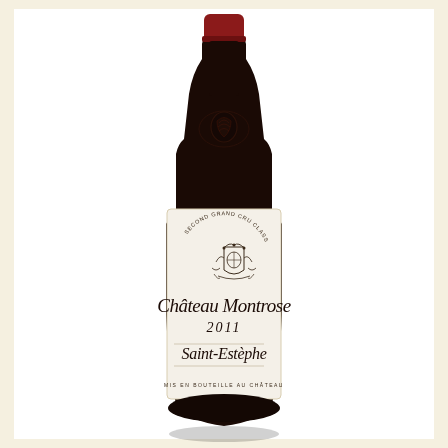[Figure (photo): A bottle of Château Montrose 2011 Saint-Estèphe wine. Second Grand Cru Classé en 1855. Dark bottle with red capsule top. White label showing ornate crest, script text reading Château Montrose, 2011, Saint-Estèphe, and Mis en bouteille au château.]